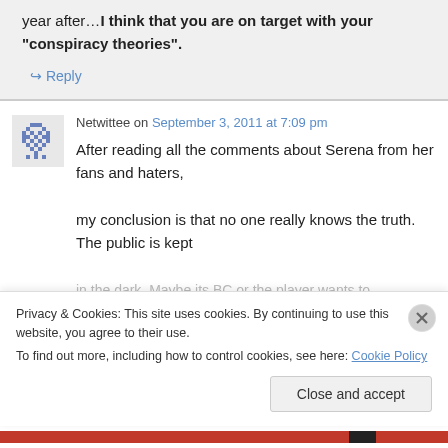year after…I think that you are on target with your “conspiracy theories”.
↪ Reply
Netwittee on September 3, 2011 at 7:09 pm
After reading all the comments about Serena from her fans and haters, my conclusion is that no one really knows the truth. The public is kept in the dark. Maybe its BC or the player wants to
Privacy & Cookies: This site uses cookies. By continuing to use this website, you agree to their use.
To find out more, including how to control cookies, see here: Cookie Policy
Close and accept